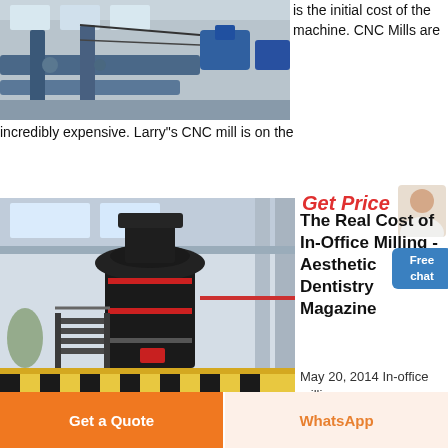[Figure (photo): Industrial CNC milling machine or processing equipment with pipes and blue equipment in a factory setting]
is the initial cost of the machine. CNC Mills are incredibly expensive. Larry"s CNC mill is on the
[Figure (photo): Large vertical roller mill machine in an industrial factory building with high ceilings, yellow floor markings, and metal staircases]
Get Price
Free chat
The Real Cost of In-Office Milling - Aesthetic Dentistry Magazine
May 20, 2014 In-office milling
Get a Quote
WhatsApp